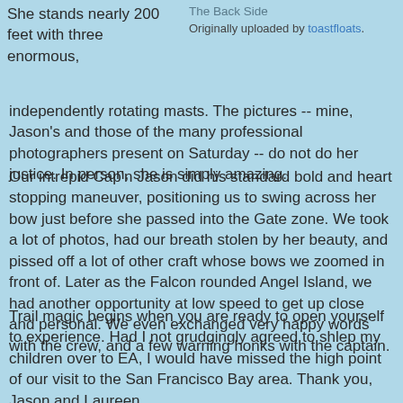She stands nearly 200 feet with three enormous, independently rotating masts. The pictures -- mine, Jason's and those of the many professional photographers present on Saturday -- do not do her justice. In person, she is simply amazing.
The Back Side
Originally uploaded by toastfloats.
Our intrepid Cap'n Jason did his standard bold and heart stopping maneuver, positioning us to swing across her bow just before she passed into the Gate zone. We took a lot of photos, had our breath stolen by her beauty, and pissed off a lot of other craft whose bows we zoomed in front of. Later as the Falcon rounded Angel Island, we had another opportunity at low speed to get up close and personal. We even exchanged very happy words with the crew, and a few warning honks with the captain.
Trail magic begins when you are ready to open yourself to experience. Had I not grudgingly agreed to shlep my children over to EA, I would have missed the high point of our visit to the San Francisco Bay area. Thank you, Jason and Laureen.